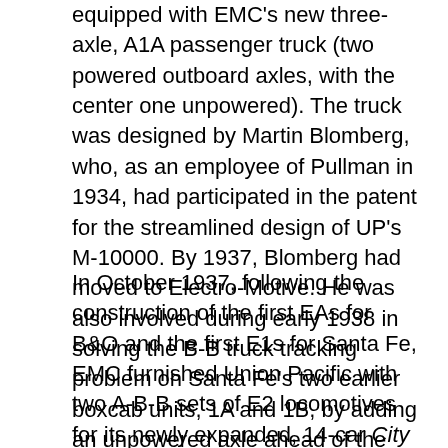equipped with EMC's new three-axle, A1A passenger truck (two powered outboard axles, with the center one unpowered). The truck was designed by Martin Blomberg, who, as an employee of Pullman in 1934, had participated in the patent for the streamlined design of UP's M-10000. By 1937, Blomberg had moved to Electro-Motive. He was also involved during early 1938 in solving the B-B truck tracking problem on Santa Fe's two earlier boxcab units, 1A and 1B, by adding an unpowered axle ahead of the two powered axles. Also in 1938, he designed the leaf-spring, swing hanger-equipped, arch-sideframe two-axle truck that was first applied to EMC's FT freight locomotive.
In October 1937, following the construction of the first EAs for B&O and the first E1s for Santa Fe, EMC furnished Union Pacific with two A-B-B sets of E2 locomotives for its newly expanded, 14-car City of San Francisco and City of Los Angeles trains. As with the EAs, built only for B&O, and the E1s, built only for Santa Fe, those E2 locomotives were built only for